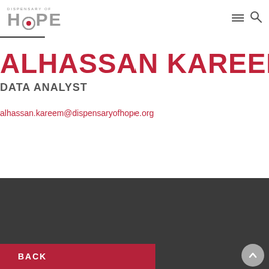[Figure (logo): Dispensary of Hope logo with stylized HOPE text and pill capsule replacing the O]
ALHASSAN KAREEM
DATA ANALYST
alhassan.kareem@dispensaryofhope.org
BACK